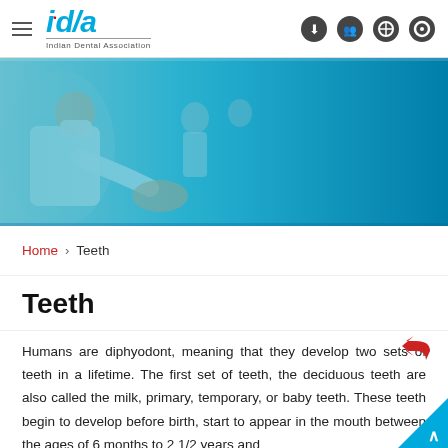IDA — Indian Dental Association
[Figure (photo): Dentist in white coat and mask working on a patient, blue-tinted hero banner image]
Home > Teeth
Teeth
Humans are diphyodont, meaning that they develop two sets of teeth in a lifetime. The first set of teeth, the deciduous teeth are also called the milk, primary, temporary, or baby teeth. These teeth begin to develop before birth, start to appear in the mouth between the ages of 6 months to 2 1/2 years and